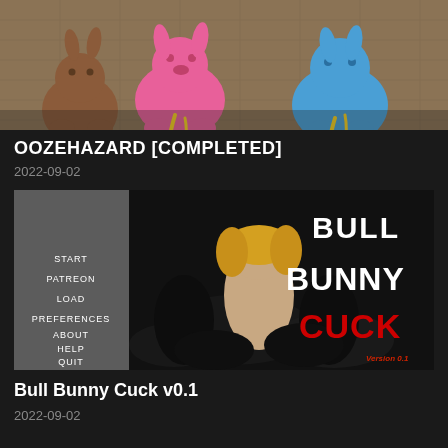[Figure (illustration): Animated cartoon characters - pink and blue anthropomorphic creatures on a tiled floor background]
OOZEHAZARD [COMPLETED]
2022-09-02
[Figure (screenshot): Game title screen for 'Bull Bunny Cuck' showing a woman surrounded by dark figures. Left side shows a grey menu panel with options: START, PATREON, LOAD, PREFERENCES, ABOUT, HELP, QUIT. Right side shows the game logo with BULL in white, BUNNY in white, CUCK in red, and 'Version 0.1' in red at bottom right.]
Bull Bunny Cuck v0.1
2022-09-02